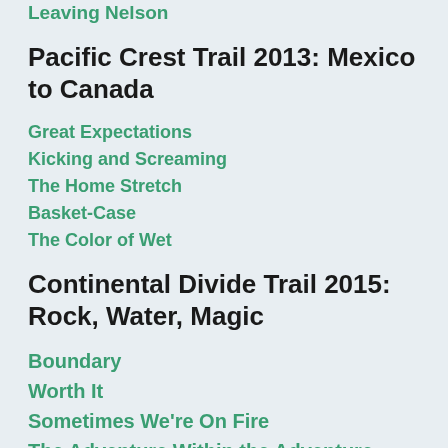Leaving Nelson
Pacific Crest Trail 2013: Mexico to Canada
Great Expectations
Kicking and Screaming
The Home Stretch
Basket-Case
The Color of Wet
Continental Divide Trail 2015: Rock, Water, Magic
Boundary
Worth It
Sometimes We're On Fire
The Adventure Within the Adventure
I Came, I Saw, I Faceplanted (A Colorado